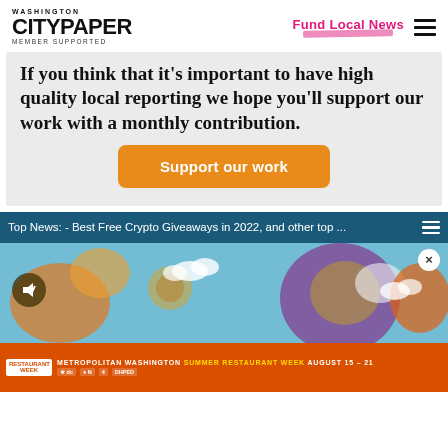Washington City Paper - Member Supported | Fund Local News
If you think that it's important to have high quality local reporting we hope you'll support our work with a monthly contribution.
Support our work
Top News: - Best Free Crypto Giveaways in 2022, and other top ...
[Figure (screenshot): Ad banner with animated crypto/gaming imagery on blue background, mute button overlay]
[Figure (screenshot): Metropolitan Washington Summer Restaurant Week August 15-21 banner with sponsor logos]